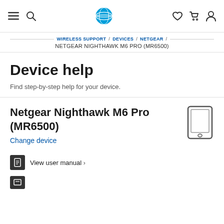AT&T navigation bar with menu, search, logo, wishlist, cart, and account icons
WIRELESS SUPPORT / DEVICES / NETGEAR / NETGEAR NIGHTHAWK M6 PRO (MR6500)
Device help
Find step-by-step help for your device.
Netgear Nighthawk M6 Pro (MR6500)
Change device
View user manual >